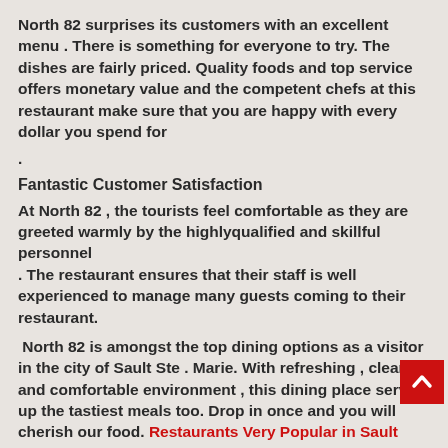North 82 surprises its customers with an excellent menu . There is something for everyone to try. The dishes are fairly priced. Quality foods and top service offers monetary value and the competent chefs at this restaurant make sure that you are happy with every dollar you spend for
.
Fantastic Customer Satisfaction
At North 82 , the tourists feel comfortable as they are greeted warmly by the highlyqualified and skillful personnel
. The restaurant ensures that their staff is well experienced to manage many guests coming to their restaurant.
North 82 is amongst the top dining options as a visitor in the city of Sault Ste . Marie. With refreshing , clean and comfortable environment , this dining place serves up the tastiest meals too. Drop in once and you will cherish our food. Restaurants Very Popular in Sault Ste. Marie ON call (705) 759-8282